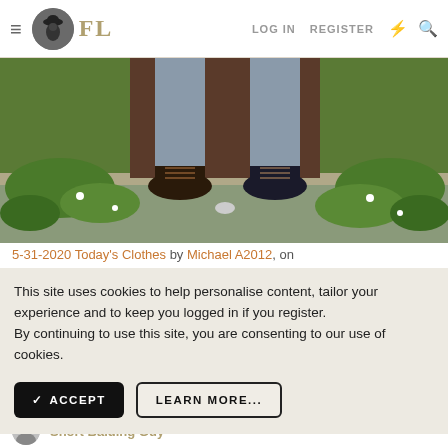FL — LOG IN   REGISTER
[Figure (photo): Partial view of a person's lower legs and feet wearing dark brown lace-up leather boots, standing on a stone step surrounded by green ground cover plants.]
5-31-2020 Today's Clothes by Michael A2012, on
This site uses cookies to help personalise content, tailor your experience and to keep you logged in if you register. By continuing to use this site, you are consenting to our use of cookies.
✓ ACCEPT    LEARN MORE...
May 31, 2020
#37,737
Short Balding Guy